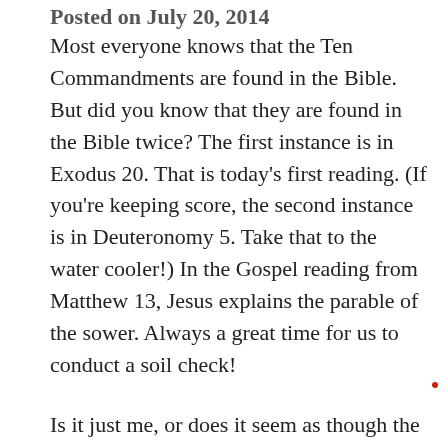Posted on July 20, 2014
Most everyone knows that the Ten Commandments are found in the Bible. But did you know that they are found in the Bible twice? The first instance is in Exodus 20. That is today's first reading. (If you're keeping score, the second instance is in Deuteronomy 5. Take that to the water cooler!) In the Gospel reading from Matthew 13, Jesus explains the parable of the sower. Always a great time for us to conduct a soil check!
Is it just me, or does it seem as though the Ten Commandments have become passe? For many, it seems as though